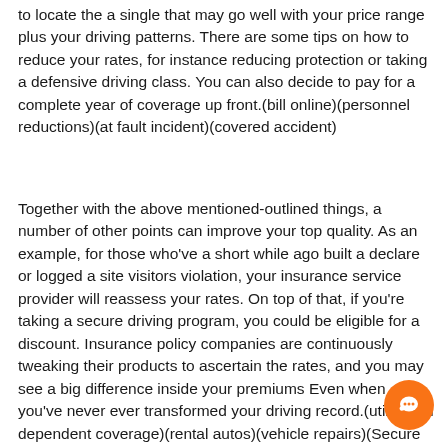to locate the a single that may go well with your price range plus your driving patterns. There are some tips on how to reduce your rates, for instance reducing protection or taking a defensive driving class. You can also decide to pay for a complete year of coverage up front.(bill online)(personnel reductions)(at fault incident)(covered accident)
Together with the above mentioned-outlined things, a number of other points can improve your top quality. As an example, for those who've a short while ago built a declare or logged a site visitors violation, your insurance service provider will reassess your rates. On top of that, if you're taking a secure driving program, you could be eligible for a discount. Insurance policy companies are continuously tweaking their products to ascertain the rates, and you may see a big difference inside your premiums Even when you've never ever transformed your driving record.(utilization dependent coverage)(rental autos)(vehicle repairs)(Secure driver discount)